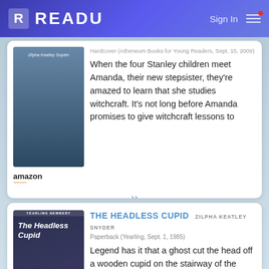READU  Sign In
Hardcover (Atheneum Books for Young Readers, Sept. 15, 2009)
When the four Stanley children meet Amanda, their new stepsister, they're amazed to learn that she studies witchcraft. It's not long before Amanda promises to give witchcraft lessons to
[Figure (illustration): Book cover image with Amazon logo below]
The Headless Cupid
ZILPHA KEATLEY SNYDER
Paperback (Yearling, Sept. 1, 1985)
Legend has it that a ghost cut the head off a wooden cupid on the stairway of the Stanley house. Has the ghost returned to strike again?
[Figure (illustration): Book cover for The Headless Cupid with Amazon logo below]
The Headless Cupid
ZILPHA KEATLEY SNYDER